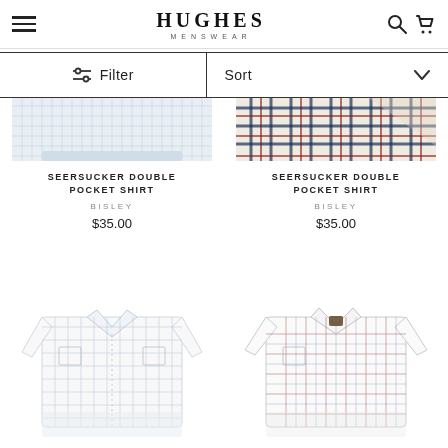HUGHES MENSWEAR
Filter | Sort
[Figure (photo): Folded light blue check seersucker shirt, partially visible, top portion cropped]
SEERSUCKER DOUBLE POCKET SHIRT
BISLEY
$35.00
[Figure (photo): Folded multi-color plaid seersucker shirt, partially visible, top portion cropped]
SEERSUCKER DOUBLE POCKET SHIRT
BISLEY
$35.00
[Figure (photo): Folded white/light blue check short-sleeve shirt, fully visible]
[Figure (photo): Folded white/red/blue tattersall check short-sleeve shirt, fully visible]